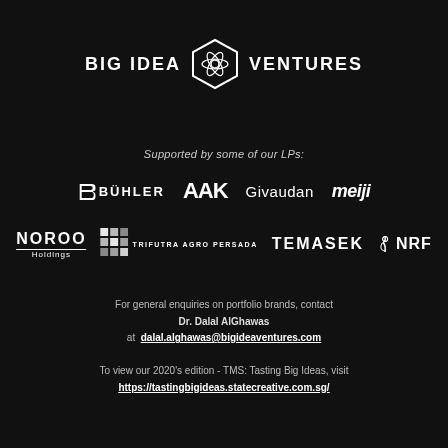[Figure (logo): Big Idea Ventures logo with hexagon atom icon]
Supported by some of our LPs:
[Figure (logo): Row of LP logos: Buhler, AAK, Givaudan, meiji]
[Figure (logo): Row of LP logos: NOROO Holdings, Trifutra Agro Persada, TEMASEK, NRF]
For general enquiries on portfolio brands, contact Dr. Dalal AlGhawas at dalal.alghawas@bigideaventures.com

To view our 2020's edition - TMS: Tasting Big Ideas, visit https://tastingbigideas.statecreative.com.sg/